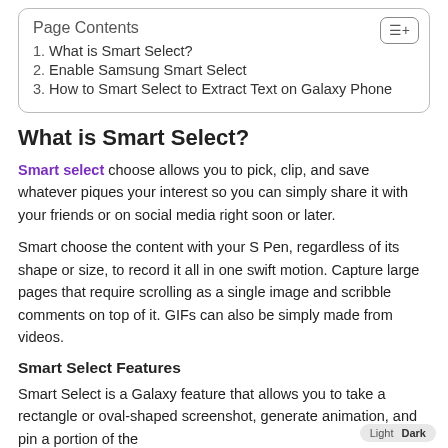Page Contents
1. What is Smart Select?
2. Enable Samsung Smart Select
3. How to Smart Select to Extract Text on Galaxy Phone
What is Smart Select?
Smart select choose allows you to pick, clip, and save whatever piques your interest so you can simply share it with your friends or on social media right soon or later.
Smart choose the content with your S Pen, regardless of its shape or size, to record it all in one swift motion. Capture large pages that require scrolling as a single image and scribble comments on top of it. GIFs can also be simply made from videos.
Smart Select Features
Smart Select is a Galaxy feature that allows you to take a rectangle or oval-shaped screenshot, generate animation, and pin a portion of the